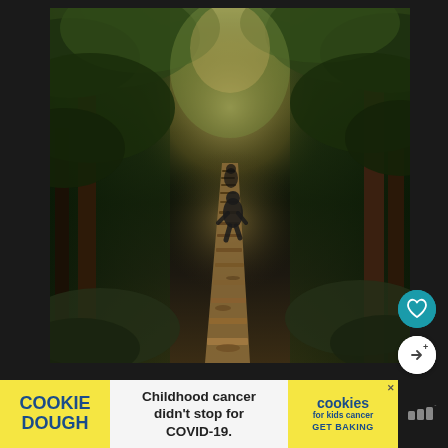[Figure (photo): A person hiking on a wooden boardwalk/ladder trail through a dense rainforest with tall tree ferns. Light filters through the fern canopy overhead. The trail leads uphill toward the center of the image. The person is bent forward as they climb the steep wooden steps.]
[Figure (other): Heart (like) button icon - teal circular button with white heart outline]
[Figure (other): Share button icon - white circular button with share/arrow icon and plus sign]
[Figure (other): Advertisement banner: Cookie Dough brand ad with yellow background on left showing 'COOKIE DOUGH' in blue text, middle section with 'Childhood cancer didn't stop for COVID-19.' text, right section showing 'cookies for kids cancer GET BAKING' logo in yellow, and dark section on far right with triple dots icon.]